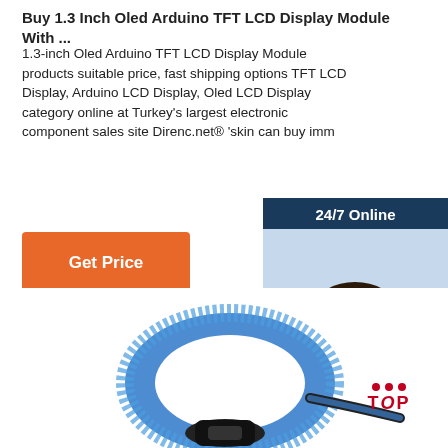Buy 1.3 Inch Oled Arduino TFT LCD Display Module With ...
1.3-inch Oled Arduino TFT LCD Display Module products suitable price, fast shipping options TFT LCD Display, Arduino LCD Display, Oled LCD Display category online at Turkey's largest electronic component sales site Direnc.net® 'skin can buy imm...
[Figure (other): Orange 'Get Price' button]
[Figure (other): Chat widget with '24/7 Online' header, photo of a woman with headset, 'Click here for free chat!' text, and orange 'QUOTATION' button]
[Figure (other): Product image showing a black and blue velcro cable tie ring, with a red 'TOP' button logo in the upper right]